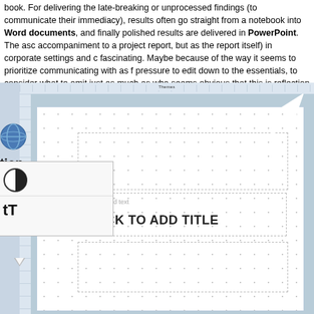book. For delivering the late-breaking or unprocessed findings (to communicate their immediacy), results often go straight from a notebook into Word documents, and finally polished results are delivered in PowerPoint. The ascendance of PowerPoint (not just as an accompaniment to a project report, but as the report itself) in corporate settings and consulting is fascinating. Maybe because of the way it seems to prioritize communicating with as few words as possible, a pressure to edit down to the essentials, to consider what to omit just as much as what to include. It seems obvious that this is reflection of the particularly intensive pressures of productivity and the fast project cycles of the private sector.
[Figure (screenshot): Screenshot of a PowerPoint application window showing a blank slide with 'CLICK TO ADD TITLE' placeholder and 'Click to add text' placeholder, with interface controls on the left including globe icon, contrast icon, and font size icon.]